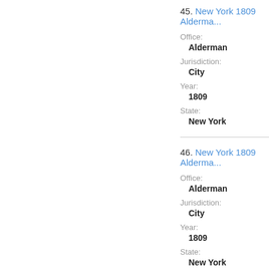45. New York 1809 Alderman
Office:
Alderman
Jurisdiction:
City
Year:
1809
State:
New York
46. New York 1809 Alderman
Office:
Alderman
Jurisdiction:
City
Year:
1809
State:
New York